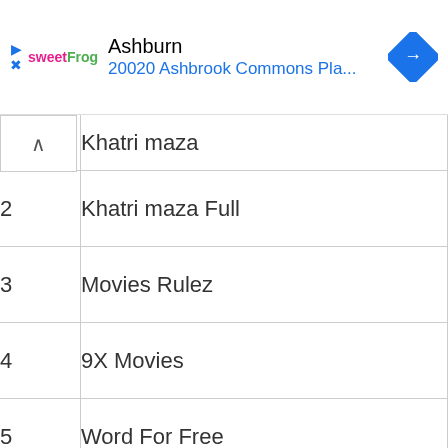[Figure (screenshot): Advertisement banner for sweetFrog frozen yogurt at Ashburn, 20020 Ashbrook Commons Pla...]
| # | Name |
| --- | --- |
|  | Khatri maza |
| 2 | Khatri maza Full |
| 3 | Movies Rulez |
| 4 | 9X Movies |
| 5 | Word For Free |
| 6 | Word Free 4u |
| 7 | Movies World |
| 8 | Jio Rockers |